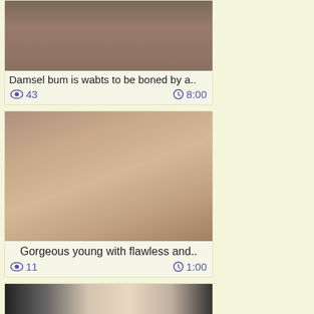[Figure (photo): Thumbnail image cropped at top, partially visible]
Damsel bum is wabts to be boned by a..
👁 43   🕐 8:00
[Figure (photo): Blonde woman with man, explicit adult content thumbnail]
Gorgeous young with flawless and..
👁 11   🕐 1:00
[Figure (photo): Partially visible thumbnail at bottom, dark haired person]